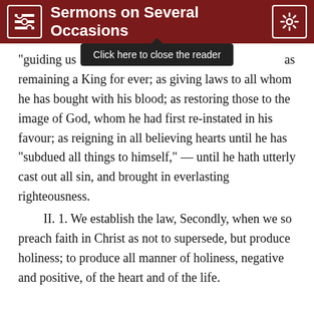Sermons on Several Occasions
“guiding us” as remaining a King for ever; as giving laws to all whom he has bought with his blood; as restoring those to the image of God, whom he had first re-instated in his favour; as reigning in all believing hearts until he has “subdued all things to himself,” — until he hath utterly cast out all sin, and brought in everlasting righteousness.
II. 1. We establish the law, Secondly, when we so preach faith in Christ as not to supersede, but produce holiness; to produce all manner of holiness, negative and positive, of the heart and of the life.